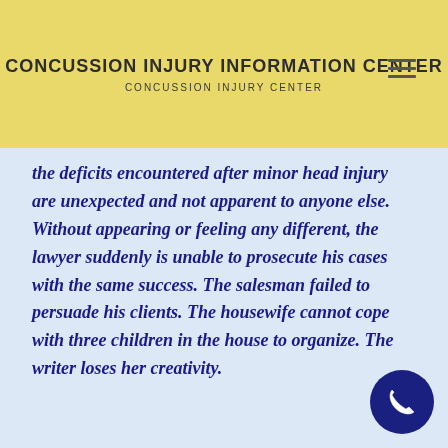CONCUSSION INJURY INFORMATION CENTER
CONCUSSION INJURY CENTER
the deficits encountered after minor head injury are unexpected and not apparent to anyone else. Without appearing or feeling any different, the lawyer suddenly is unable to prosecute his cases with the same success. The salesman failed to persuade his clients. The housewife cannot cope with three children in the house to organize. The writer loses her creativity.